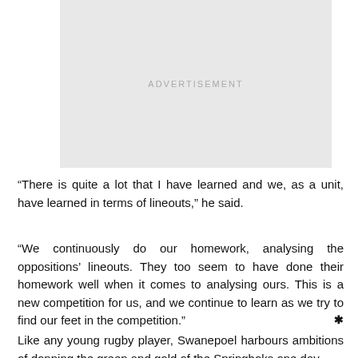[Figure (other): Advertisement placeholder box with the text ADVERTISEMENT in light grey letters on a light grey background]
“There is quite a lot that I have learned and we, as a unit, have learned in terms of lineouts,” he said.
“We continuously do our homework, analysing the oppositions’ lineouts. They too seem to have done their homework well when it comes to analysing ours. This is a new competition for us, and we continue to learn as we try to find our feet in the competition.”
Like any young rugby player, Swanepoel harbours ambitions of donning the green and gold of the Springboks one day.